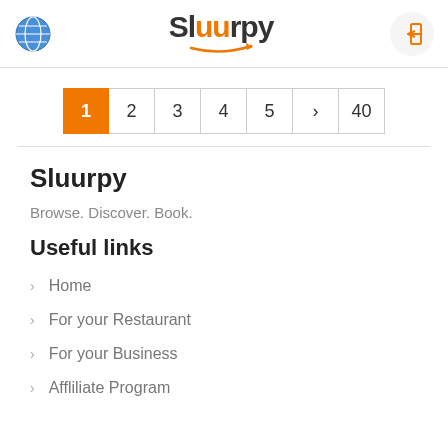Sluurpy
[Figure (other): Pagination bar with buttons: 1 (active/orange), 2, 3, 4, 5, >, 40]
Sluurpy
Browse. Discover. Book.
Useful links
Home
For your Restaurant
For your Business
Affliliate Program